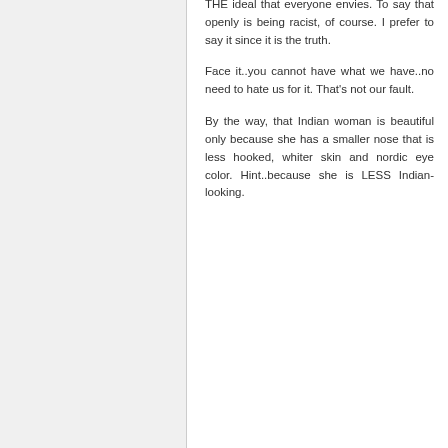THE ideal that everyone envies. To say that openly is being racist, of course. I prefer to say it since it is the truth.

Face it..you cannot have what we have..no need to hate us for it. That's not our fault.

By the way, that Indian woman is beautiful only because she has a smaller nose that is less hooked, whiter skin and nordic eye color. Hint..because she is LESS Indian-looking.